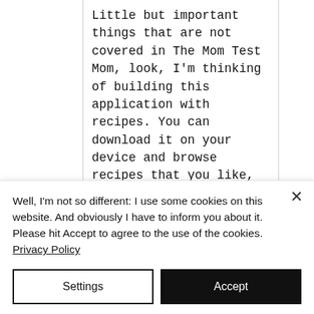Little but important things that are not covered in The Mom Test Mom, look, I'm thinking of building this application with recipes. You can download it on your device and browse recipes that you like, tag your favorite, save and share them with your friends. Do you think it's a good idea? — Well...hmmm... sure, honey. Sounds amazing! This customer interview gone 100% wrong from The Mom Test by Rob Fitzpatrick is probably known to
Well, I'm not so different: I use some cookies on this website. And obviously I have to inform you about it. Please hit Accept to agree to the use of the cookies. Privacy Policy